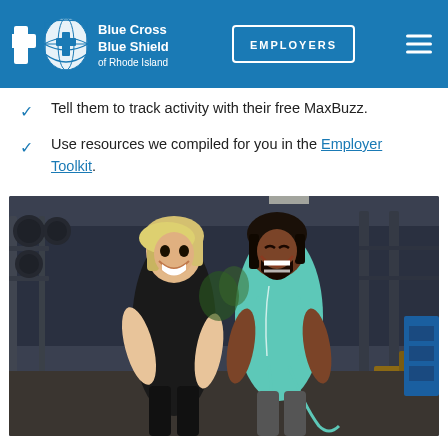Blue Cross Blue Shield of Rhode Island — EMPLOYERS
Tell them to track activity with their free MaxBuzz.
Use resources we compiled for you in the Employer Toolkit.
[Figure (photo): Two women laughing in a gym, one wearing a black workout outfit and the other wearing a teal t-shirt holding a jump rope.]